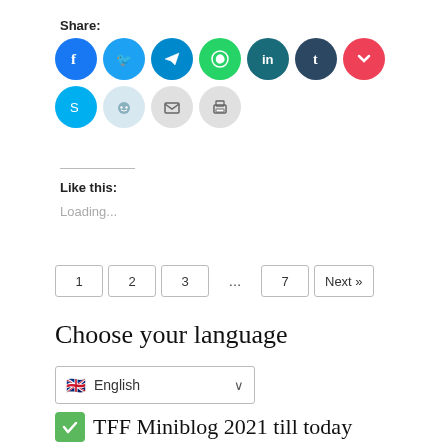Share:
[Figure (illustration): Row of social media sharing icons: Facebook (blue), Twitter (cyan), Telegram (teal), WhatsApp (green), LinkedIn (dark teal), Tumblr (navy), Pocket (red), Skype (cyan), Reddit (light blue), Email (gray), Print (gray)]
Like this:
Loading...
1  2  3  ...  7  Next »
Choose your language
English
✅ TFF Miniblog 2021 till today